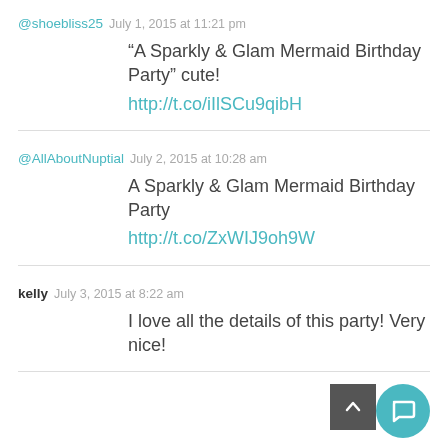@shoebliss25  July 1, 2015 at 11:21 pm
“A Sparkly & Glam Mermaid Birthday Party” cute! http://t.co/iIlSCu9qibH
@AllAboutNuptial  July 2, 2015 at 10:28 am
A Sparkly & Glam Mermaid Birthday Party http://t.co/ZxWIJ9oh9W
kelly  July 3, 2015 at 8:22 am
I love all the details of this party! Very nice!